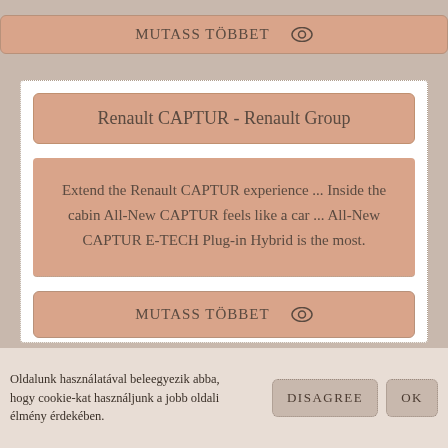MUTASS TÖBBET 👁
Renault CAPTUR - Renault Group
Extend the Renault CAPTUR experience ... Inside the cabin All-New CAPTUR feels like a car ... All-New CAPTUR E-TECH Plug-in Hybrid is the most.
MUTASS TÖBBET 👁
Oldalunk használatával beleegyezik abba, hogy cookie-kat használjunk a jobb oldali élmény érdekében.
DISAGREE
OK